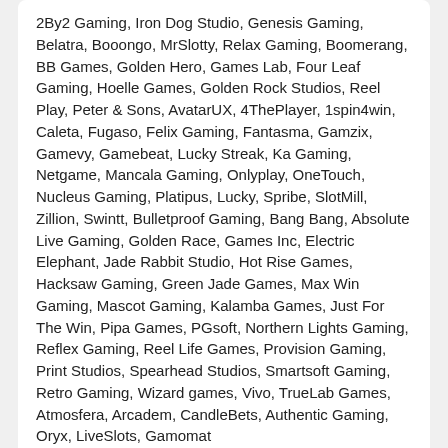2By2 Gaming, Iron Dog Studio, Genesis Gaming, Belatra, Booongo, MrSlotty, Relax Gaming, Boomerang, BB Games, Golden Hero, Games Lab, Four Leaf Gaming, Hoelle Games, Golden Rock Studios, Reel Play, Peter & Sons, AvatarUX, 4ThePlayer, 1spin4win, Caleta, Fugaso, Felix Gaming, Fantasma, Gamzix, Gamevy, Gamebeat, Lucky Streak, Ka Gaming, Netgame, Mancala Gaming, Onlyplay, OneTouch, Nucleus Gaming, Platipus, Lucky, Spribe, SlotMill, Zillion, Swintt, Bulletproof Gaming, Bang Bang, Absolute Live Gaming, Golden Race, Games Inc, Electric Elephant, Jade Rabbit Studio, Hot Rise Games, Hacksaw Gaming, Green Jade Games, Max Win Gaming, Mascot Gaming, Kalamba Games, Just For The Win, Pipa Games, PGsoft, Northern Lights Gaming, Reflex Gaming, Reel Life Games, Provision Gaming, Print Studios, Spearhead Studios, Smartsoft Gaming, Retro Gaming, Wizard games, Vivo, TrueLab Games, Atmosfera, Arcadem, CandleBets, Authentic Gaming, Oryx, LiveSlots, Gamomat
Restricted Countries
Israel, United States of America, United Kingdom, Spain, France and its overseas territories (Guadeloupe, Martinique...